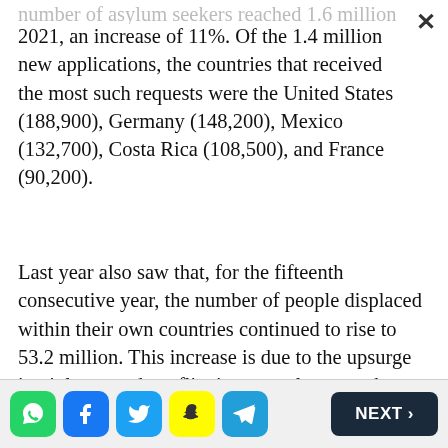number of asylum seekers reached 1.6 million in 2021, an increase of 11%. Of the 1.4 million new applications, the countries that received the most such requests were the United States (188,900), Germany (148,200), Mexico (132,700), Costa Rica (108,500), and France (90,200).
Last year also saw that, for the fifteenth consecutive year, the number of people displaced within their own countries continued to rise to 53.2 million. This increase is due to the upsurge in violence and conflict in some places, such as Myanmar, Ethiopia, Chad, Burkina Faso